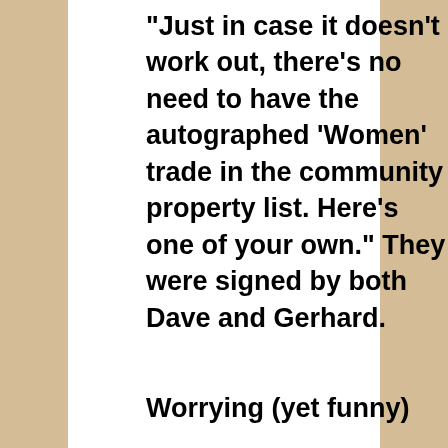"Just in case it doesn't work out, there's no need to have the autographed 'Women' trade in the community property list. Here's one of your own." They were signed by both Dave and Gerhard.
Worrying (yet funny)